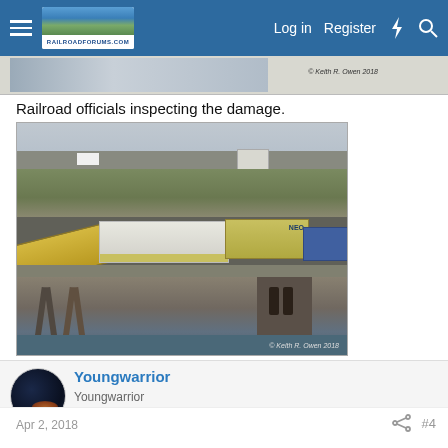RailroadForums.com | Log in | Register
[Figure (photo): Partial strip of a previous image showing a train scene with watermark '© Keith R. Owen 2018']
Railroad officials inspecting the damage.
[Figure (photo): A derailed train on a trestle bridge over water. Freight containers are tilted and overturned. Two people visible on the trestle structure. Watermark reads '© Keith R. Owen 2018']
Youngwarrior
Youngwarrior
Apr 2, 2018
#4